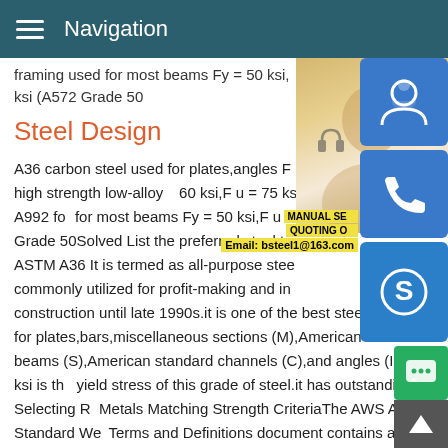Navigation
framing used for most beams Fy = 50 ksi,ksi (A572 Grade 50
Steel Design
A36 carbon steel used for plates,angles Fy = 29,000 ksi A572 high strength low-alloy 60 ksi,F u = 75 ksi,E = 29,000 ksi A992 for most beams Fy = 50 ksi,F u = 65 ksi,E Grade 50Solved List the preferred steel ty ASTM A36 It is termed as all-purpose stee commonly utilized for profit-making and industrial building construction until late 1990s.it is one of the best steel of choice for plates,bars,miscellaneous sections (M),American standard beams (S),American standard channels (C),and angles (I.).36 ksi is the yield stress of this grade of steel.it has outstanding Selecting R Metals Matching Strength CriteriaThe AWS A3.0 Standard We Terms and Definitions document contains a thorough description
[Figure (photo): Woman with headset, customer service representative photo with contact icons (support, phone, skype) and email label bsteel1@163.com]